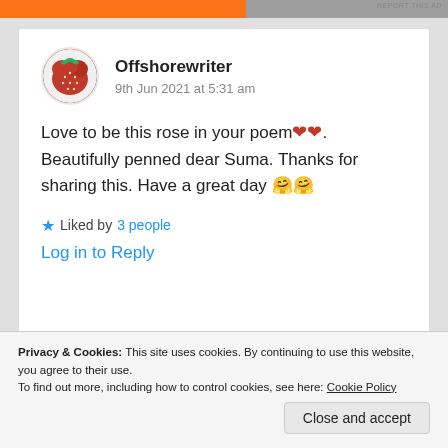[Figure (screenshot): Orange and grey ad bar at top of page]
REPORT THIS AD
Offshorewriter
9th Jun 2021 at 5:31 am
Love to be this rose in your poem❤❤. Beautifully penned dear Suma. Thanks for sharing this. Have a great day 🤗🤗
★ Liked by 3 people
Log in to Reply
Privacy & Cookies: This site uses cookies. By continuing to use this website, you agree to their use.
To find out more, including how to control cookies, see here: Cookie Policy
Close and accept
REPORT THIS AD